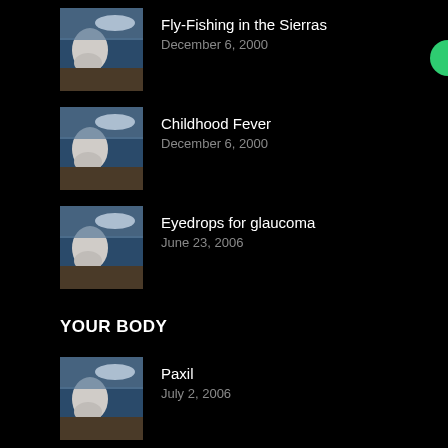[Figure (photo): Stacked stones on a beach with sky background]
Fly-Fishing in the Sierras
December 6, 2000
[Figure (photo): Stacked stones on a beach with sky background]
Childhood Fever
December 6, 2000
[Figure (photo): Stacked stones on a beach with sky background]
Eyedrops for glaucoma
June 23, 2006
YOUR BODY
[Figure (photo): Stacked stones on a beach with sky background]
Paxil
July 2, 2006